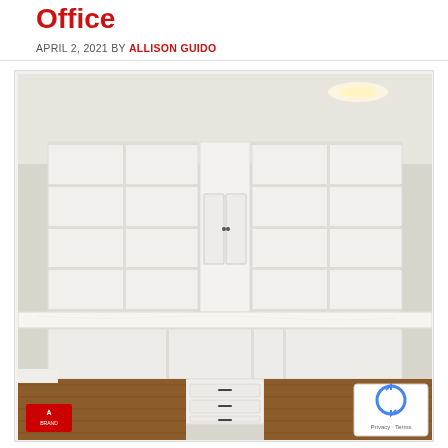Office
APRIL 2, 2021 BY ALLISON GUIDO
[Figure (photo): A built-in white shelving and desk unit spanning the full wall of a home office, with open shelves above, cabinet doors in the center, drawers below, and a white countertop desk surface. Dark hardwood floor visible. A company logo (A-brand) appears in the bottom left corner of the photo. A reCAPTCHA badge appears in the bottom right.]